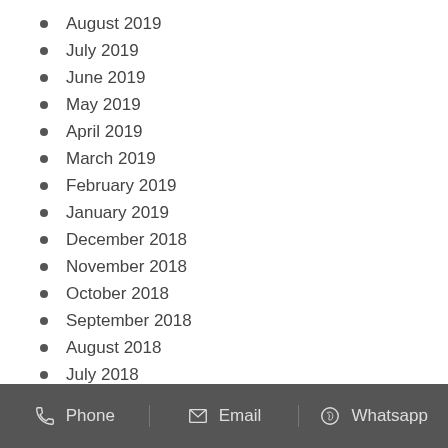August 2019
July 2019
June 2019
May 2019
April 2019
March 2019
February 2019
January 2019
December 2018
November 2018
October 2018
September 2018
August 2018
July 2018
June 2018
May 2018
Phone   Email   Whatsapp